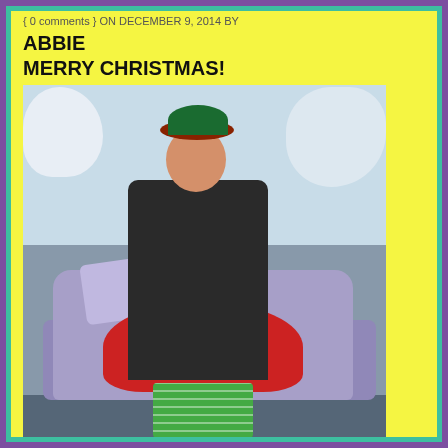{ 0 comments } ON DECEMBER 9, 2014 BY
ABBIE
MERRY CHRISTMAS!
[Figure (photo): Person dressed in colorful elf/Christmas costume sitting on a purple sofa with snowy trees in the background]
Mimetime is now in full swing, providing Colorado with some of Denver's best talent! Just to share we have been balloon twisting, face painting, our psychics have been doing readings, and Edweena Elf even did signing elf with a signing Santa at Cherry Creek Mall! Lots of juggling events this year and even our stilt walking x-mas tree has made an